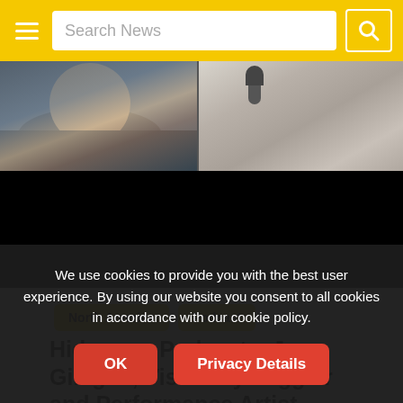Search News
[Figure (screenshot): Video thumbnail showing two people in a split-screen video call; left person in gray hoodie with pink collar, right person near a microphone in beige top; lower half is black (video player area)]
North America
Podcast
Hideaway Podcast – Jay Gilligan, Visionary Juggler and Performance Artist
June 22, 2020   Hideaway Podcast
We use cookies to provide you with the best user experience. By using our website you consent to all cookies in accordance with our cookie policy.
OK
Privacy Details